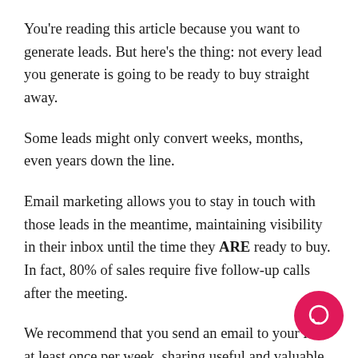You're reading this article because you want to generate leads. But here's the thing: not every lead you generate is going to be ready to buy straight away.
Some leads might only convert weeks, months, even years down the line.
Email marketing allows you to stay in touch with those leads in the meantime, maintaining visibility in their inbox until the time they ARE ready to buy. In fact, 80% of sales require five follow-up calls after the meeting.
We recommend that you send an email to your list at least once per week, sharing useful and valuable content with them; occasionally throwing in an offer